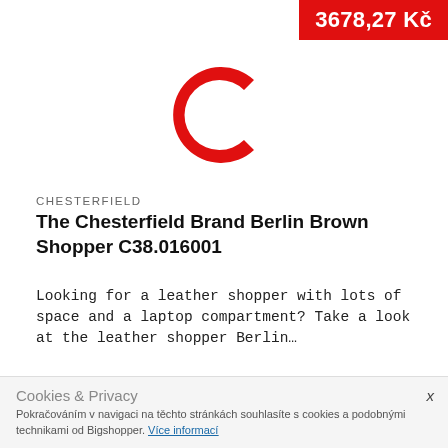3678,27 Kč
[Figure (logo): Red letter C logo (Chesterfield brand)]
CHESTERFIELD
The Chesterfield Brand Berlin Brown Shopper C38.016001
Looking for a leather shopper with lots of space and a laptop compartment? Take a look at the leather shopper Berlin…
VÍCE INFORMACÍ
Cookies & Privacy
Pokračováním v navigaci na těchto stránkách souhlasíte s cookies a podobnými technikami od Bigshopper. Více informací